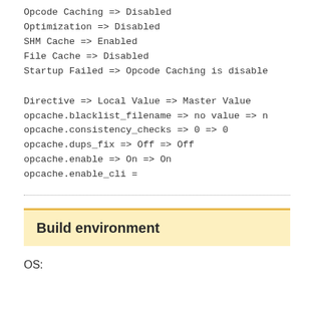Opcode Caching => Disabled
Optimization => Disabled
SHM Cache => Enabled
File Cache => Disabled
Startup Failed => Opcode Caching is disable
Directive => Local Value => Master Value
opcache.blacklist_filename => no value => n
opcache.consistency_checks => 0 => 0
opcache.dups_fix => Off => Off
opcache.enable => On => On
opcache.enable_cli =
Build environment
OS: